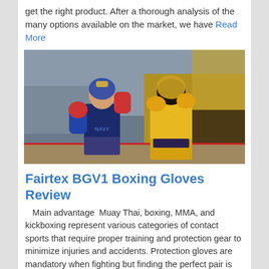get the right product. After a thorough analysis of the many options available on the market, we have Read More
[Figure (photo): Two boxers in a ring. One boxer wearing blue NAVY gear with red/blue gloves, the other in yellow jersey with yellow gloves and headgear. Indoor boxing venue with spectators in background.]
Fairtex BGV1 Boxing Gloves Review
Main advantage  Muay Thai, boxing, MMA, and kickboxing represent various categories of contact sports that require proper training and protection gear to minimize injuries and accidents. Protection gloves are mandatory when fighting but finding the perfect pair is not an easy job. There are countless options available on the market, so why should you choose the Fairtex BGV1? Read More